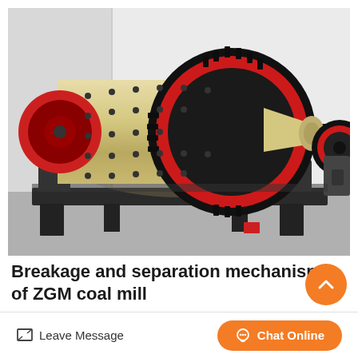[Figure (photo): Industrial ball mill machine with large cylindrical drum, prominent black gear ring, red end caps, and cream/beige colored body mounted on a black steel frame. The mill appears to be a ZGM coal mill photographed in an industrial facility with white walls and concrete floor.]
Breakage and separation mechanism of ZGM coal mill
Leave Message
Chat Online